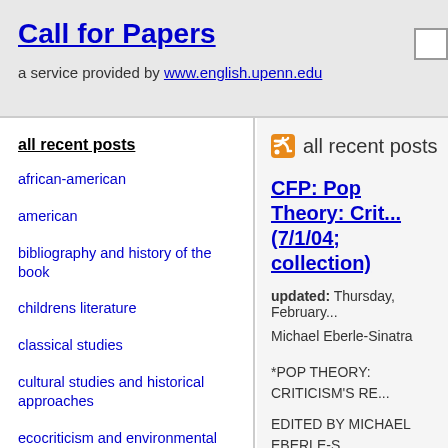Call for Papers
a service provided by www.english.upenn.edu
all recent posts
african-american
american
bibliography and history of the book
childrens literature
classical studies
cultural studies and historical approaches
ecocriticism and environmental studies
eighteenth century
all recent posts
CFP: Pop Theory: Crit... (7/1/04; collection)
updated: Thursday, February...
Michael Eberle-Sinatra
*POP THEORY: CRITICISM'S RE...
EDITED BY MICHAEL EBERLE-S...
CONTRACTED FOR PUBLICATIO...